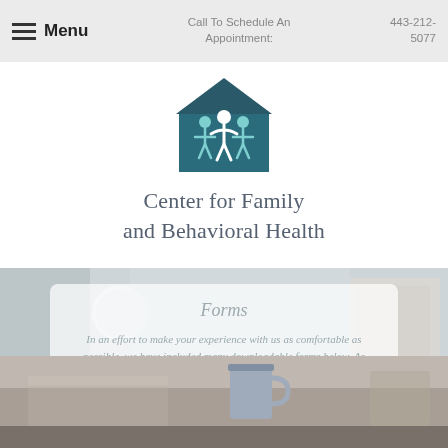Menu | Call To Schedule An Appointment: 443-212-5077
[Figure (logo): Center for Family and Behavioral Health logo: house shape in dark teal with three stylized figures inside]
Center for Family and Behavioral Health
Forms
In an effort to make your experience with us as comfortable as possible, we have included many downloadable forms below. As always, if you have any questions, please let us know.
[Figure (photo): Blurred office/waiting room interior background with soft lighting and decorative items]